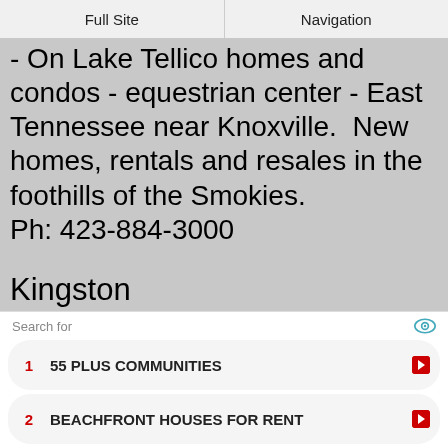Full Site | Navigation
- On Lake Tellico homes and condos - equestrian center - East Tennessee near Knoxville.  New homes, rentals and resales in the foothills of the Smokies. Ph: 423-884-3000
Kingston
The Highland Reserve - Kingston, TN - Equestrian-friendly gated community in Watts Bar Lake - Small lots to estates. See local Realtors.
Search for
1  55 PLUS COMMUNITIES
2  BEACHFRONT HOUSES FOR RENT
Yahoo! Search | Sponsored